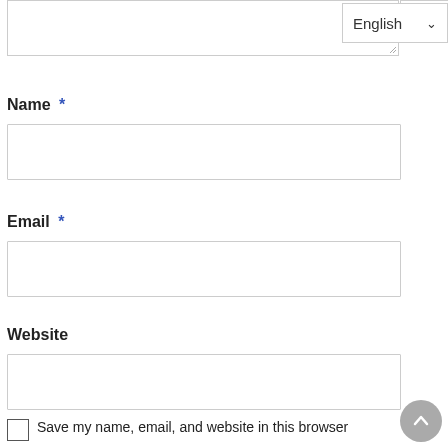[Figure (screenshot): Partial textarea input box at the top of the page, with an English language dropdown selector in the top-right corner and a resize handle at the bottom-right.]
Name *
[Figure (screenshot): Text input field for Name]
Email *
[Figure (screenshot): Text input field for Email]
Website
[Figure (screenshot): Text input field for Website]
Save my name, email, and website in this browser